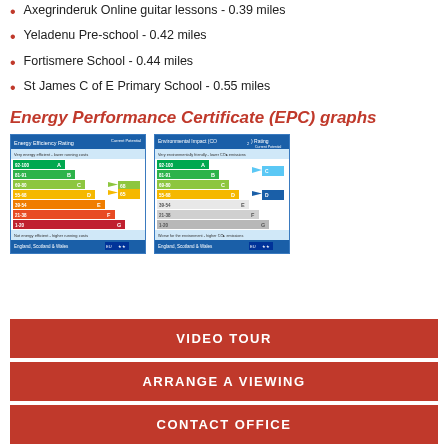Axegrinderuk Online guitar lessons - 0.39 miles
Yeladenu Pre-school - 0.42 miles
Fortismere School - 0.44 miles
St James C of E Primary School - 0.55 miles
Energy Performance Certificate (EPC) graphs
[Figure (infographic): Energy Efficiency Rating EPC chart showing bands A through G with colour coding, England Scotland & Wales]
[Figure (infographic): Environmental Impact (CO2) Rating EPC chart showing bands A through G with colour coding, England Scotland & Wales]
VIDEO TOUR
ARRANGE A VIEWING
CONTACT OFFICE